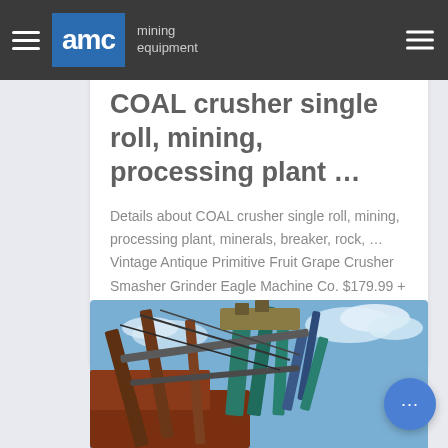AMC mining equipment
COAL crusher single roll, mining, processing plant …
Details about COAL crusher single roll, mining, processing plant, minerals, breaker, rock, … Vintage Antique Primitive Fruit Grape Crusher Smasher Grinder Eagle Machine Co. $179.99 + $40.00 shipping + $40.00 shipping + $40.00 shipping.
[Figure (photo): Industrial mining equipment / crusher machinery photographed from a low angle against a blue sky with clouds]